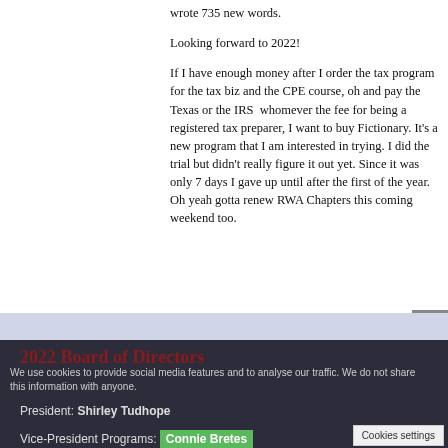wrote 735 new words.
Looking forward to 2022!
If I have enough money after I order the tax program for the tax biz and the CPE course, oh and pay the Texas or the IRS  whomever the fee for being a registered tax preparer, I want to buy Fictionary. It’s a new program that I am interested in trying. I did the trial but didn’t really figure it out yet. Since it was only 7 days I gave up until after the first of the year. Oh yeah gotta renew RWA Chapters this coming weekend too.
2022 Board of Directors
We use cookies to provide social media features and to analyse our traffic. We do not share this information with anyone.
President: Shirley Tudhope
Vice-President Programs: Connie Bretes